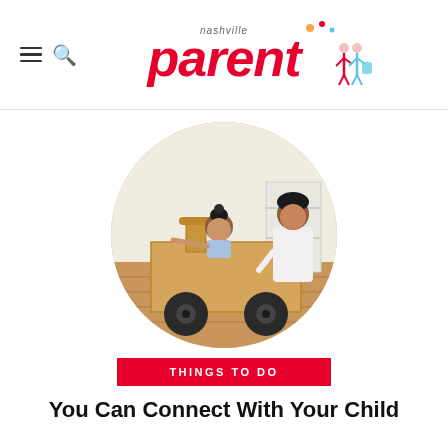nashville parent
[Figure (photo): A mother and young child playing with a large cardboard box car in a living room. The child sits inside the box and points forward, smiling. The mother pushes from behind, smiling.]
THINGS TO DO
You Can Connect With Your Child